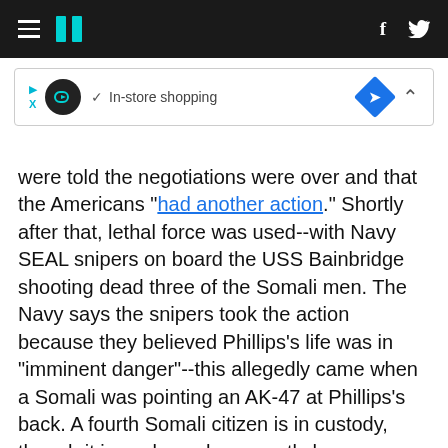HuffPost navigation bar with hamburger menu, logo, Facebook and Twitter icons
[Figure (other): Advertisement banner with play/pause icon, circular logo, checkmark, 'In-store shopping' text, blue diamond navigation icon, and collapse caret]
were told the negotiations were over and that the Americans "had another action." Shortly after that, lethal force was used--with Navy SEAL snipers on board the USS Bainbridge shooting dead three of the Somali men. The Navy says the snipers took the action because they believed Phillips's life was in "imminent danger"--this allegedly came when a Somali was pointing an AK-47 at Phillips's back. A fourth Somali citizen is in custody, though it is unclear when exactly he was taken by the US. Reports indicate that he had been stabbed in the hand in the